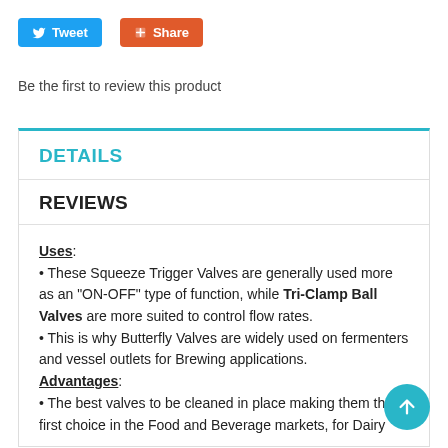[Figure (other): Tweet and Share social media buttons]
Be the first to review this product
DETAILS
REVIEWS
Uses: These Squeeze Trigger Valves are generally used more as an "ON-OFF" type of function, while Tri-Clamp Ball Valves are more suited to control flow rates. This is why Butterfly Valves are widely used on fermenters and vessel outlets for Brewing applications. Advantages: The best valves to be cleaned in place making them the first choice in the Food and Beverage markets, for Dairy